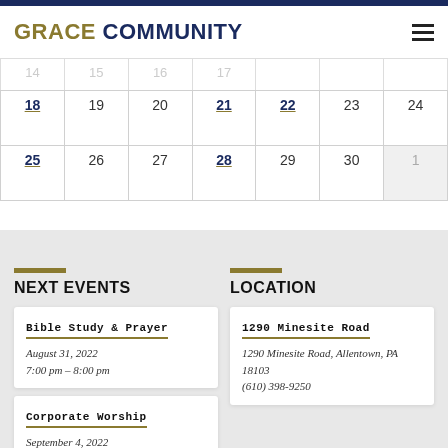GRACE COMMUNITY
| Sun | Mon | Tue | Wed | Thu | Fri | Sat |
| --- | --- | --- | --- | --- | --- | --- |
| 14 | 15 | 16 | 17 |  |  |  |
| 18 | 19 | 20 | 21 | 22 | 23 | 24 |
| 25 | 26 | 27 | 28 | 29 | 30 | 1 |
NEXT EVENTS
LOCATION
Bible Study & Prayer
August 31, 2022
7:00 pm – 8:00 pm
1290 Minesite Road
1290 Minesite Road, Allentown, PA 18103
(610) 398-9250
Corporate Worship
September 4, 2022
9:30 am – 10:45 am